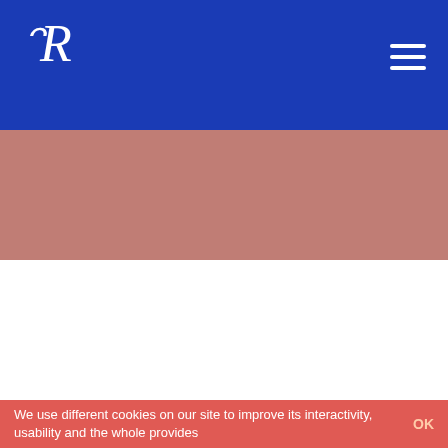TR logo and navigation menu
Team
Mission & Values
Team
We use different cookies on our site to improve its interactivity, usability and the whole provides